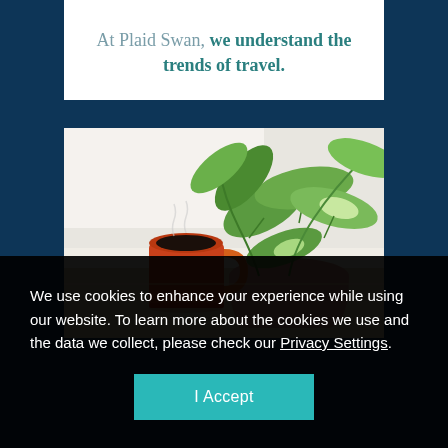At Plaid Swan, we understand the trends of travel.
[Figure (photo): A photograph of a red/orange coffee mug filled with black coffee and a green pothos plant in a terracotta pot on a light wooden surface.]
We use cookies to enhance your experience while using our website. To learn more about the cookies we use and the data we collect, please check our Privacy Settings.
I Accept